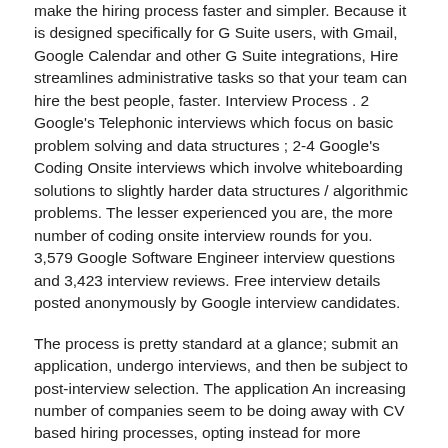make the hiring process faster and simpler. Because it is designed specifically for G Suite users, with Gmail, Google Calendar and other G Suite integrations, Hire streamlines administrative tasks so that your team can hire the best people, faster. Interview Process . 2 Google's Telephonic interviews which focus on basic problem solving and data structures ; 2-4 Google's Coding Onsite interviews which involve whiteboarding solutions to slightly harder data structures / algorithmic problems. The lesser experienced you are, the more number of coding onsite interview rounds for you. 3,579 Google Software Engineer interview questions and 3,423 interview reviews. Free interview details posted anonymously by Google interview candidates.
The process is pretty standard at a glance; submit an application, undergo interviews, and then be subject to post-interview selection. The application An increasing number of companies seem to be doing away with CV based hiring processes, opting instead for more dynamic approaches like hiring through AngelList and other profile based sites. The interview process doesn't reinvent the wheel. Typically, Google uses a two-stage interview process. The first stage is a phone interview (or, more often, a Google Hangout interview). Civil Engineer Interview Questions Civil engineering firms that are hiring new colleagues will often seek to gauge how seamlessly promising candidates would adapt to their company culture. Since hiring initiatives can be time-intensive